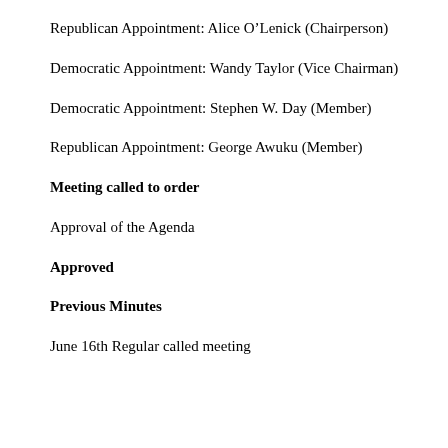Republican Appointment: Alice O'Lenick (Chairperson)
Democratic Appointment: Wandy Taylor (Vice Chairman)
Democratic Appointment: Stephen W. Day (Member)
Republican Appointment: George Awuku (Member)
Meeting called to order
Approval of the Agenda
Approved
Previous Minutes
June 16th Regular called meeting